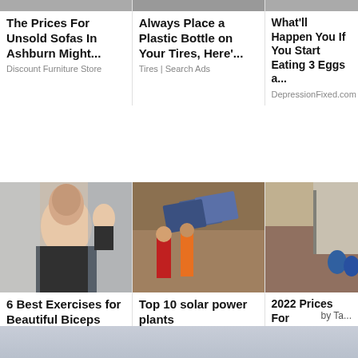The Prices For Unsold Sofas In Ashburn Might...
Discount Furniture Store
Always Place a Plastic Bottle on Your Tires, Here'...
Tires | Search Ads
What'll Happen You If You Start Eating 3 Eggs a...
DepressionFixed.com
[Figure (photo): Woman flexing biceps, fitness photo]
6 Best Exercises for Beautiful Biceps
health.hernodi.com
[Figure (photo): Women in colorful saris near solar panels]
Top 10 solar power plants
EnergySpore
[Figure (photo): Construction site with foundation repair work]
2022 Prices For Residential Foundation Rep...
Foundation Repair | Se...
by Ta...